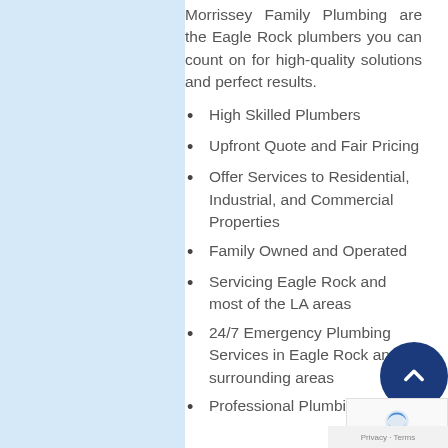Morrissey Family Plumbing are the Eagle Rock plumbers you can count on for high-quality solutions and perfect results.
High Skilled Plumbers
Upfront Quote and Fair Pricing
Offer Services to Residential, Industrial, and Commercial Properties
Family Owned and Operated
Servicing Eagle Rock and most of the LA areas
24/7 Emergency Plumbing Services in Eagle Rock and surrounding areas
Professional Plumbing